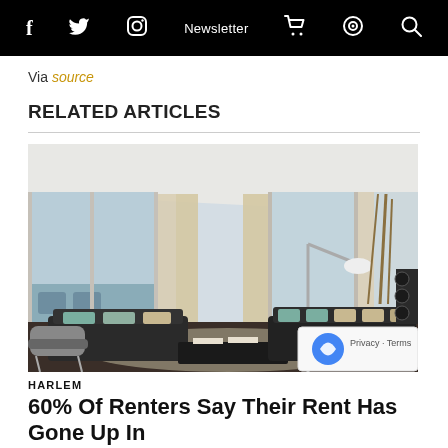f  [twitter]  [instagram]  Newsletter  [cart]  [podcast]  [search]
Via source
RELATED ARTICLES
[Figure (photo): Interior photo of a modern luxury living room with floor-to-ceiling windows, dark sofas with teal and beige cushions, a lounge chair, coffee table, arc lamp, and ocean view terrace.]
HARLEM
60% Of Renters Say Their Rent Has Gone Up In